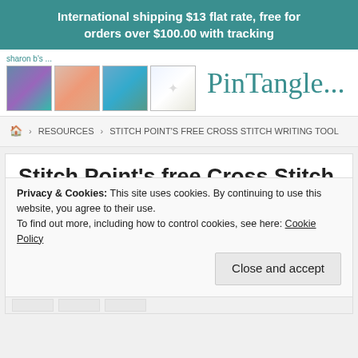International shipping $13 flat rate, free for orders over $100.00 with tracking
[Figure (screenshot): Site header with thumbnail images and PinTangle... logo in teal]
sharon b's ...
PinTangle...
🏠 > RESOURCES > STITCH POINT'S FREE CROSS STITCH WRITING TOOL
Stitch Point's free Cross Stitch Writing Tool
RESOURCES
Privacy & Cookies: This site uses cookies. By continuing to use this website, you agree to their use.
To find out more, including how to control cookies, see here: Cookie Policy
Close and accept